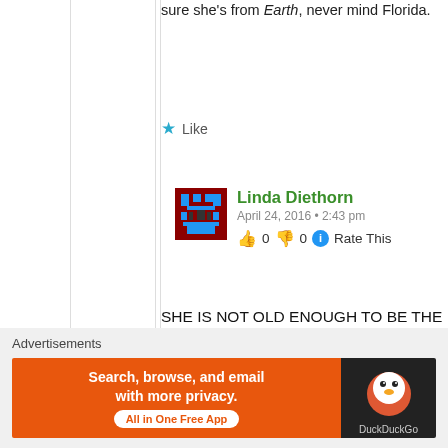sure she's from Earth, never mind Florida.
★ Like
Linda Diethorn
April 24, 2016 • 2:43 pm
👍 0 👎 0 ℹ Rate This
SHE IS NOT OLD ENOUGH TO BE THE START OF ANONYMOUS. I HAVE BEEN IN IT FOR 33 YEARS. I AM 60. AND AM HEALING FROM BATTLE WOUNDS FORM BEING REAL ANONYMOUS BEFORE THE MASKS. SO
Advertisements
[Figure (infographic): DuckDuckGo advertisement banner: orange left side with text 'Search, browse, and email with more privacy. All in One Free App' and dark right side with DuckDuckGo logo]